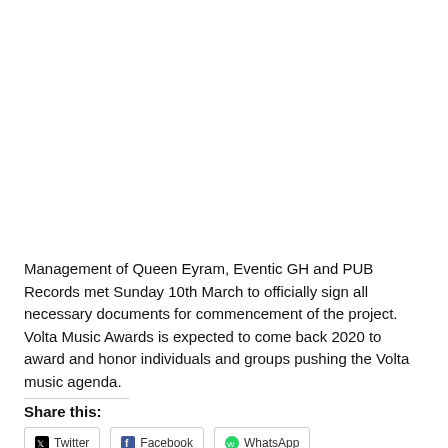Management of Queen Eyram, Eventic GH and PUB Records met Sunday 10th March to officially sign all necessary documents for commencement of the project.
Volta Music Awards is expected to come back 2020 to award and honor individuals and groups pushing the Volta music agenda.
Share this: